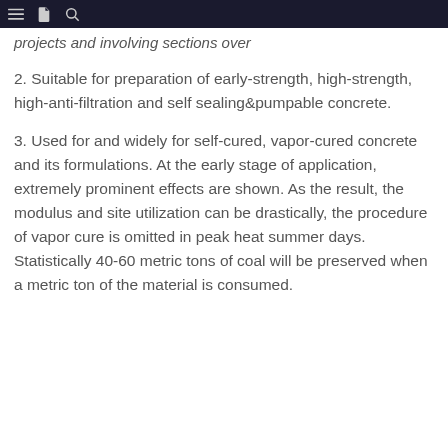≡  📄  🔍
projects and involving sections over
2. Suitable for preparation of early-strength, high-strength, high-anti-filtration and self sealing&pumpable concrete.
3. Used for and widely for self-cured, vapor-cured concrete and its formulations. At the early stage of application, extremely prominent effects are shown. As the result, the modulus and site utilization can be drastically, the procedure of vapor cure is omitted in peak heat summer days. Statistically 40-60 metric tons of coal will be preserved when a metric ton of the material is consumed.